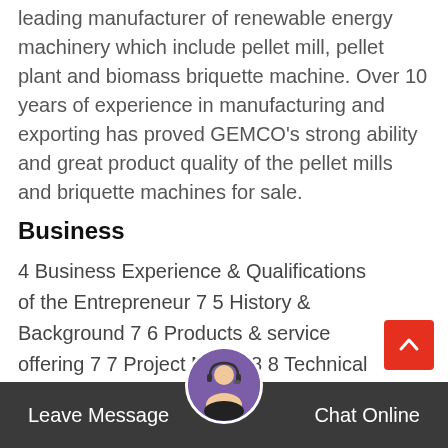leading manufacturer of renewable energy machinery which include pellet mill, pellet plant and biomass briquette machine. Over 10 years of experience in manufacturing and exporting has proved GEMCO's strong ability and great product quality of the pellet mills and briquette machines for sale.
Business
4 Business Experience & Qualifications of the Entrepreneur 7 5 History & Background 7 6 Products & service offering 7 7 Project Model 8 8 Technical Aspect of product 8 TLUD Micro gasification Stoves 9 Pellet 9 Briquette 9 9.1 Process Technology 10 Imported Machinary 10 Local Machinary 10 9.2 Manufacturing Process